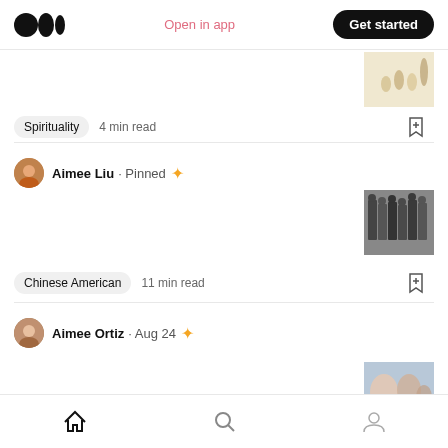Medium logo | Open in app | Get started
Spirituality · 4 min read
Aimee Liu · Pinned ✦
Chinese American · 11 min read
Aimee Ortiz · Aug 24 ✦
Home | Search | Profile